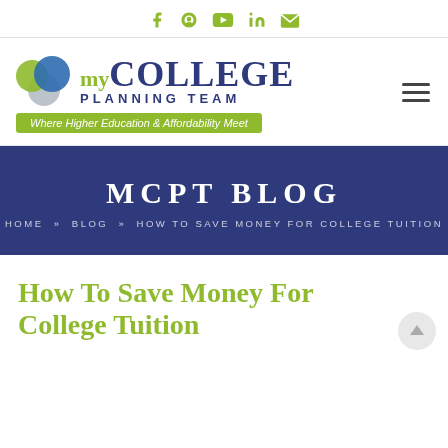Social icons: Facebook, Pinterest, YouTube, LinkedIn, Email
[Figure (logo): My College Planning Team logo with three overlapping circles (green, blue, grey) and text 'myCOLLEGE PLANNING TEAM' with tagline 'Where Higher Education & Affordability Meet']
MCPT BLOG
HOME » BLOG » HOW TO SAVE MONEY FOR COLLEGE TUITION
How To Save Money For College Tuition